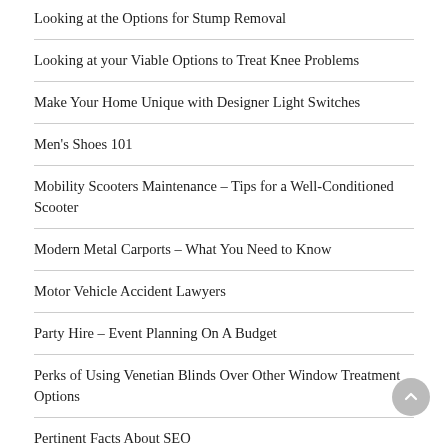Looking at the Options for Stump Removal
Looking at your Viable Options to Treat Knee Problems
Make Your Home Unique with Designer Light Switches
Men's Shoes 101
Mobility Scooters Maintenance – Tips for a Well-Conditioned Scooter
Modern Metal Carports – What You Need to Know
Motor Vehicle Accident Lawyers
Party Hire – Event Planning On A Budget
Perks of Using Venetian Blinds Over Other Window Treatment Options
Pertinent Facts About SEO
Pet Doors Adelaide – Your #1 Shop For The Best Quality Pet